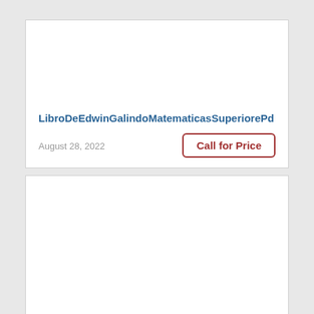LibroDeEdwinGalindoMatematicasSuperiorePd
August 28, 2022
Call for Price